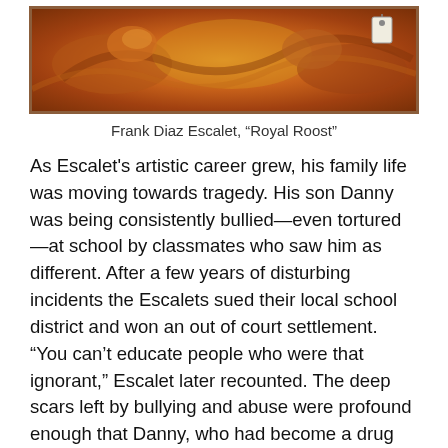[Figure (photo): A framed oil painting by Frank Diaz Escalet titled 'Royal Roost', showing warm orange and brown tones with animals, displayed with a price tag in the upper right corner.]
Frank Diaz Escalet, “Royal Roost”
As Escalet's artistic career grew, his family life was moving towards tragedy. His son Danny was being consistently bullied—even tortured—at school by classmates who saw him as different. After a few years of disturbing incidents the Escalets sued their local school district and won an out of court settlement. “You can’t educate people who were that ignorant,” Escalet later recounted. The deep scars left by bullying and abuse were profound enough that Danny, who had become a drug abuser, took his own life in 1984.
Shattered by his son’s death, Escalet took solace in his work. Escalet began to call himself a painter, re-dedicating himself to his artistic development. He moved to Kennebunkport and established a studo and gallery that